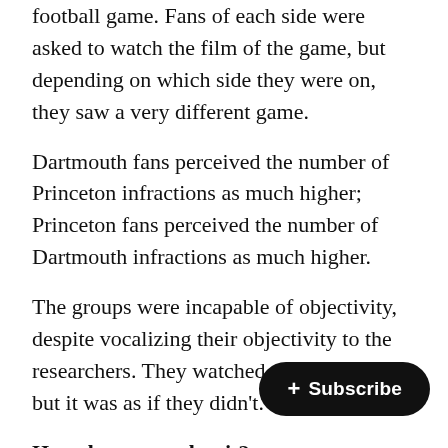football game. Fans of each side were asked to watch the film of the game, but depending on which side they were on, they saw a very different game.
Dartmouth fans perceived the number of Princeton infractions as much higher; Princeton fans perceived the number of Dartmouth infractions as much higher.
The groups were incapable of objectivity, despite vocalizing their objectivity to the researchers. They watched the same game, but it was as if they didn't.
How do you combat it?
This is a tough one, as it is so deeply-rooted in our minds as a protective mechanism.
Again, awareness is the key. Embrac… flawed creature - recognize that you h… at least similar) blind spots and deficiencies as others